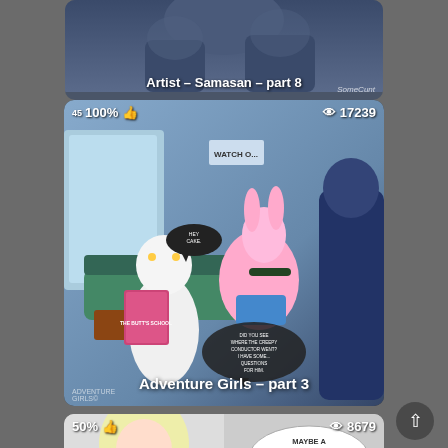[Figure (illustration): Top card partially visible showing animated/cartoon artwork with text overlay 'Artist - Samasan - part 8' and watermark 'SomeCunt']
Artist - Samasan - part 8
[Figure (illustration): Middle card showing animated cartoon characters in a train/bus scene with speech bubbles. Stats overlay: 45 votes, 100%, thumbs up icon on left; eye icon, 17239 views on right. Title overlay: 'Adventure Girls - part 3'. Watermark: 'ADVENTURE GIRLS©']
Adventure Girls - part 3
[Figure (illustration): Bottom card partially visible showing animated cartoon artwork with character and speech bubble 'MAYBE A QUICKIE ON MY WAY TO WORK...'. Stats: 50%, thumbs up; eye icon, 8679 views.]